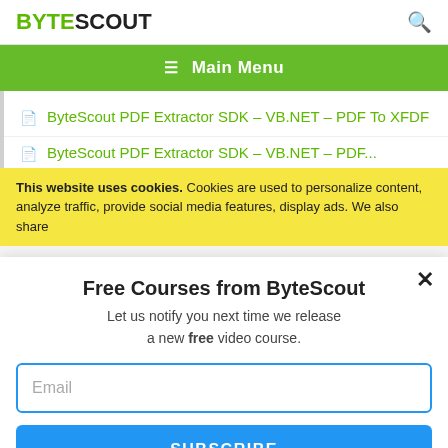BYTESCOUT
[Figure (screenshot): ByteScout website navigation bar with green background showing hamburger menu icon and 'Main Menu' text in white]
ByteScout PDF Extractor SDK – VB.NET – PDF To XFDF
ByteScout PDF Extractor SDK – VB.NET – PDF ...
This website uses cookies. Cookies are used to personalize content, analyze traffic, provide social media features, display ads. We also share
Free Courses from ByteScout
Let us notify you next time we release a new free video course.
Email
SUBSCRIBE